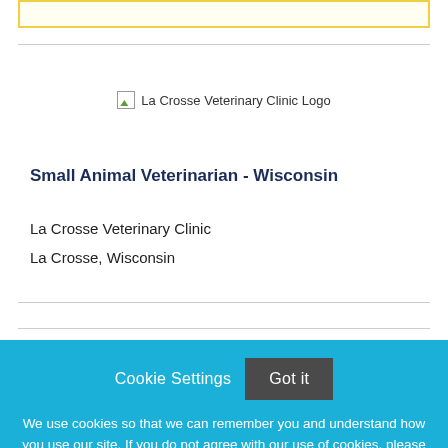[Figure (logo): La Crosse Veterinary Clinic Logo — broken image placeholder with alt text]
Small Animal Veterinarian - Wisconsin
La Crosse Veterinary Clinic
La Crosse, Wisconsin
Cookie Settings
Got it
We use cookies so that we can remember you and understand how you use our site. If you do not agree with our use of cookies, please change the current settings found in our Cookie Policy. Otherwise, you agree to the use of the cookies as they are currently set.